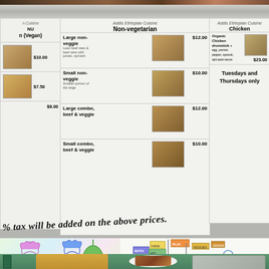[Figure (photo): Top strip showing food/dishes at top of image]
[Figure (photo): Restaurant menu board for Addis Ethiopian Cuisine showing Non-vegetarian and Chicken sections with prices and food photos. Handwritten note: 'tax will be added on the above prices.' Children's drawings visible below the menu.]
Addis Ethiopian Cuisine
Non-vegetarian
Large non-veggie - Lean beef stew & beef stew with potato, spinach - $12.00
Small non-veggie - Smaller portion of the large - $10.00
Large combo, beef & veggie - $12.00
Small combo, beef & veggie - $10.00
Addis Ethiopian Cuisine
Chicken
Organic Chicken drumstick + egg, panner, pepper, ayeeob, apit peat sauce - $23.00
Tuesdays and Thursdays only
% tax will be added on the above prices.
[Figure (illustration): Children's drawings: cartoon characters (Shimmer and Shine style), vegetables, a person with shopping cart near signs]
[Figure (photo): Bottom food photo showing cornbread and cooked meats on plates]